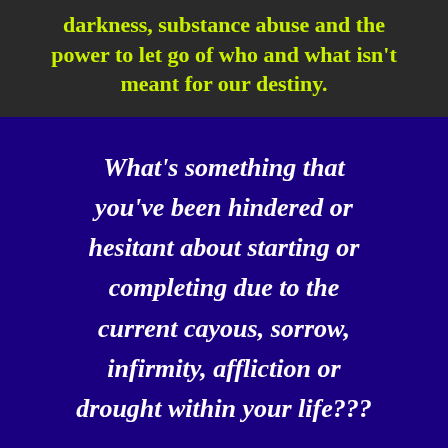darkness, substance abuse and the power to let go of who and what isn't meant for our destiny.
What's something that you've been hindered or hesitant about starting or completing due to the current cayous, sorrow, infirmity, affliction or drought within your life???